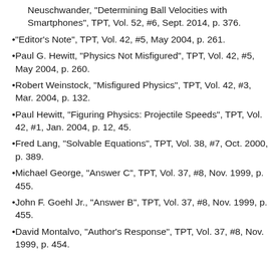Neuschwander, "Determining Ball Velocities with Smartphones", TPT, Vol. 52, #6, Sept. 2014, p. 376.
"Editor's Note", TPT, Vol. 42, #5, May 2004, p. 261.
Paul G. Hewitt, "Physics Not Misfigured", TPT, Vol. 42, #5, May 2004, p. 260.
Robert Weinstock, "Misfigured Physics", TPT, Vol. 42, #3, Mar. 2004, p. 132.
Paul Hewitt, "Figuring Physics: Projectile Speeds", TPT, Vol. 42, #1, Jan. 2004, p. 12, 45.
Fred Lang, "Solvable Equations", TPT, Vol. 38, #7, Oct. 2000, p. 389.
Michael George, "Answer C", TPT, Vol. 37, #8, Nov. 1999, p. 455.
John F. Goehl Jr., "Answer B", TPT, Vol. 37, #8, Nov. 1999, p. 455.
David Montalvo, "Author's Response", TPT, Vol. 37, #8, Nov. 1999, p. 454.